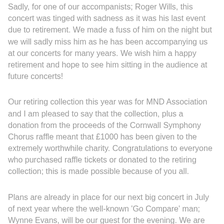Sadly, for one of our accompanists; Roger Wills, this concert was tinged with sadness as it was his last event due to retirement. We made a fuss of him on the night but we will sadly miss him as he has been accompanying us at our concerts for many years. We wish him a happy retirement and hope to see him sitting in the audience at future concerts!
Our retiring collection this year was for MND Association and I am pleased to say that the collection, plus a donation from the proceeds of the Cornwall Symphony Chorus raffle meant that £1000 has been given to the extremely worthwhile charity. Congratulations to everyone who purchased raffle tickets or donated to the retiring collection; this is made possible because of you all.
Plans are already in place for our next big concert in July of next year where the well-known 'Go Compare' man; Wynne Evans, will be our guest for the evening. We are really looking forward to that Concert and early next year we will be sharing more information with you all about tickets.